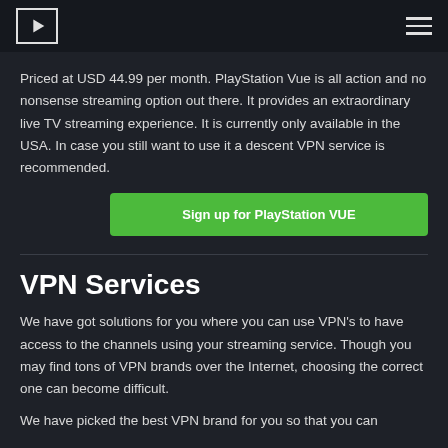[Logo] [Hamburger menu]
Priced at USD 44.99 per month. PlayStation Vue is all action and no nonsense streaming option out there. It provides an extraordinary live TV streaming experience. It is currently only available in the USA. In case you still want to use it a descent VPN service is recommended.
Sign up for PlayStation VUE
VPN Services
We have got solutions for you where you can use VPN's to have access to the channels using your streaming service. Though you may find tons of VPN brands over the Internet, choosing the correct one can become difficult.
We have picked the best VPN brand for you so that you can